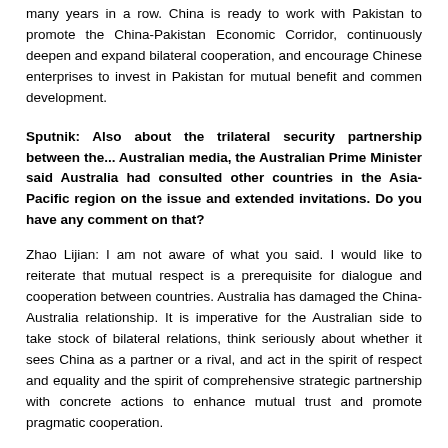many years in a row. China is ready to work with Pakistan to promote the China-Pakistan Economic Corridor, continuously deepen and expand bilateral cooperation, and encourage Chinese enterprises to invest in Pakistan for mutual benefit and common development.
Sputnik: Also about the trilateral security partnership between... Australian media, the Australian Prime Minister said Australia had consulted other countries in the Asia-Pacific region on the issue and extended invitations. Do you have any comment on that?
Zhao Lijian: I am not aware of what you said. I would like to reiterate that mutual respect is a prerequisite for dialogue and cooperation between countries. Australia has damaged the China-Australia relationship. It is imperative for the Australian side to take stock of bilateral relations, think seriously about whether it sees China as a partner or a rival, and act in the spirit of respect and equality and the spirit of comprehensive strategic partnership with concrete actions to enhance mutual trust and promote pragmatic cooperation.
Reuters: Two questions. First, according to a German foreign ministry spokesperson, China rejected warship entry into a local harbor. I was wondering if you have any comment. Second, Germany on Thursday proposed extra defense spending of nearly $9 billion over the next few years, citing China as a severe threat. Do you have any comment on that?